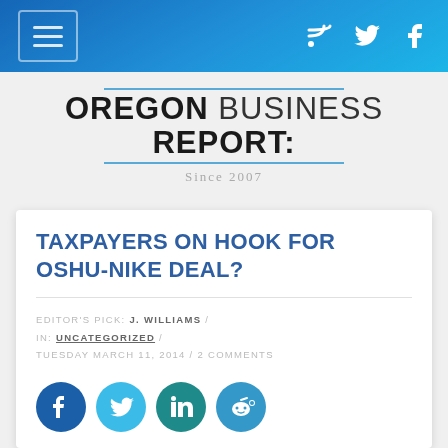Oregon Business Report: Since 2007
TAXPAYERS ON HOOK FOR OSHU-NIKE DEAL?
EDITOR'S PICK: J. WILLIAMS / IN: UNCATEGORIZED / TUESDAY MARCH 11, 2014 / 2 COMMENTS
[Figure (other): Social share buttons: Facebook, Twitter, LinkedIn, Reddit]